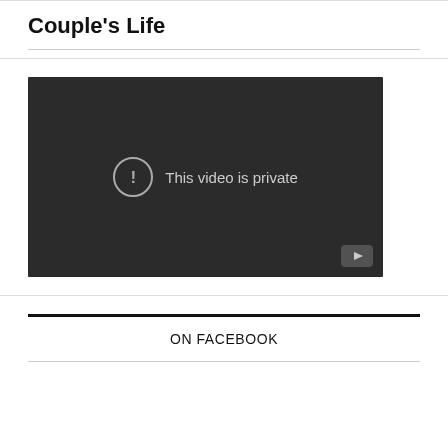Couple's Life
[Figure (screenshot): Embedded video player showing 'This video is private' message with a circular exclamation icon and a YouTube logo button in the bottom right corner. The player background is dark gray.]
ON FACEBOOK